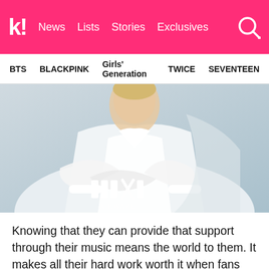k! News Lists Stories Exclusives
BTS BLACKPINK Girls' Generation TWICE SEVENTEEN
[Figure (photo): A person wearing a white long-sleeve shirt with arms crossed, seated against a light blue/grey background. X KWAVE watermark logo visible at the bottom center of the image.]
Knowing that they can provide that support through their music means the world to them. It makes all their hard work worth it when fans say